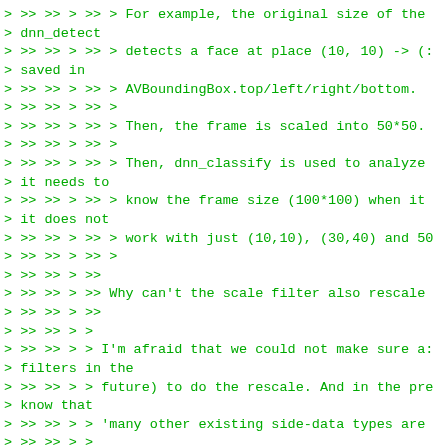> >> >> > >> > For example, the original size of the
> dnn_detect
> >> >> > >> > detects a face at place (10, 10) -> (:
> saved in
> >> >> > >> > AVBoundingBox.top/left/right/bottom.
> >> >> > >> >
> >> >> > >> > Then, the frame is scaled into 50*50.
> >> >> > >> >
> >> >> > >> > Then, dnn_classify is used to analyze
> it needs to
> >> >> > >> > know the frame size (100*100) when it
> it does not
> >> >> > >> > work with just (10,10), (30,40) and 50
> >> >> > >> >
> >> >> > >>
> >> >> > >> Why can't the scale filter also rescale
> >> >> > >>
> >> >> > >
> >> >> > > I'm afraid that we could not make sure a:
> filters in the
> >> >> > > future) to do the rescale. And in the pre
> know that
> >> >> > > 'many other existing side-data types are
> >> >> > >
> >> >> > > So, we need frame_width and frame_height
> >> >> > >
> >> >> >
> >> >> > No, you don't. You just need to make sure t
> resolution
> >> >> > or do cropping also change the side data pa
> >> >> > It's called maintainership. As-is, this wo